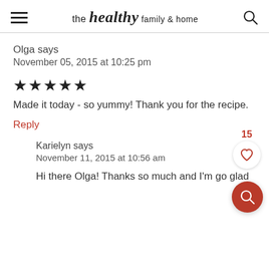the healthy family & home
Olga says
November 05, 2015 at 10:25 pm
★★★★★
Made it today - so yummy! Thank you for the recipe.
Reply
15
Karielyn says
November 11, 2015 at 10:56 am
Hi there Olga! Thanks so much and I'm go glad